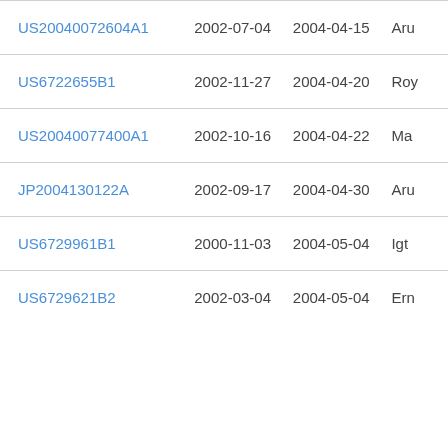| Patent Number | Filed | Published | Assignee |
| --- | --- | --- | --- |
| US20040072604A1 | 2002-07-04 | 2004-04-15 | Aru |
| US6722655B1 | 2002-11-27 | 2004-04-20 | Roy |
| US20040077400A1 | 2002-10-16 | 2004-04-22 | Ma |
| JP2004130122A | 2002-09-17 | 2004-04-30 | Aru |
| US6729961B1 | 2000-11-03 | 2004-05-04 | Igt |
| US6729621B2 | 2002-03-04 | 2004-05-04 | Ern |